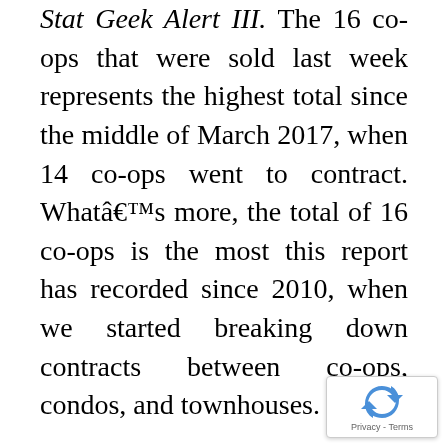Stat Geek Alert III. The 16 co-ops that were sold last week represents the highest total since the middle of March 2017, when 14 co-ops went to contract. Whatâ€™s more, the total of 16 co-ops is the most this report has recorded since 2010, when we started breaking down contracts between co-ops, condos, and townhouses.
The No. 1 contract was 9A at 15 Central Park West, asking $35 million. The unit has 4,565 square feet including 4 bedrooms and 4 bathrooms. The living room, library and master bedroom face Central...